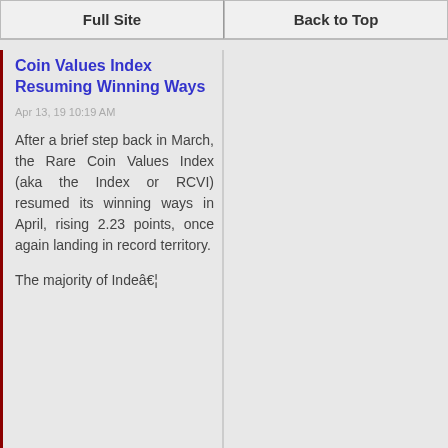Full Site | Back to Top
Coin Values Index Resuming Winning Ways
Apr 13, 19 10:19 AM
After a brief step back in March, the Rare Coin Values Index (aka the Index or RCVI) resumed its winning ways in April, rising 2.23 points, once again landing in record territory.
The majority of Indeâ€¦